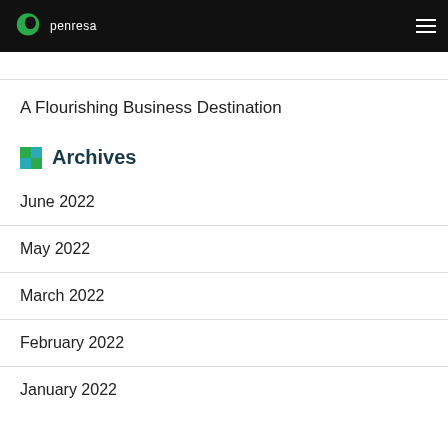penresa
A Flourishing Business Destination
Archives
June 2022
May 2022
March 2022
February 2022
January 2022